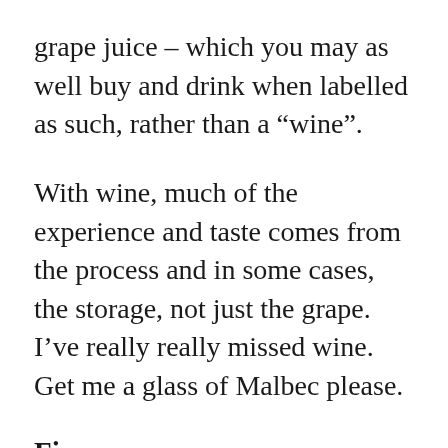grape juice – which you may as well buy and drink when labelled as such, rather than a “wine”.
With wine, much of the experience and taste comes from the process and in some cases, the storage, not just the grape. I’ve really really missed wine. Get me a glass of Malbec please.
Fizz
Not as disappointing as wine – but still lacking a decent selection.